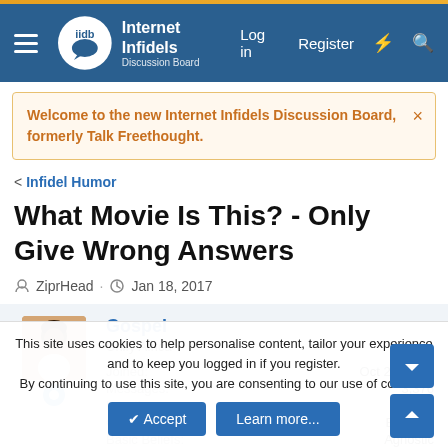Internet Infidels Discussion Board — Log in  Register
Welcome to the new Internet Infidels Discussion Board, formerly Talk Freethought.
< Infidel Humor
What Movie Is This? - Only Give Wrong Answers
ZiprHead · Jan 18, 2017
Gospel
Unify Africa
Joined: Oct 22, 2007
Messages: 3,376
Location: Florida
Gender: B====D
Basic Beliefs: Agnostic
This site uses cookies to help personalise content, tailor your experience and to keep you logged in if you register.
By continuing to use this site, you are consenting to our use of cookies.